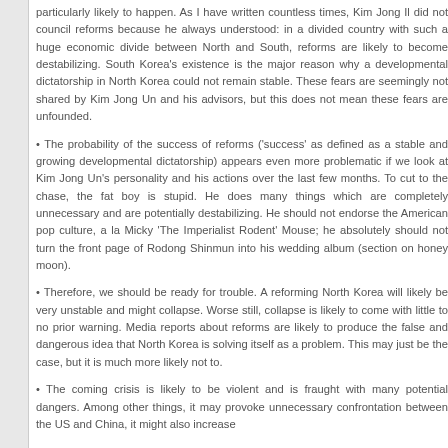particularly likely to happen. As I have written countless times, Kim Jong Il did not council reforms because he always understood: in a divided country with such a huge economic divide between North and South, reforms are likely to become destabilizing. South Korea's existence is the major reason why a developmental dictatorship in North Korea could not remain stable. These fears are seemingly not shared by Kim Jong Un and his advisors, but this does not mean these fears are unfounded.
• The probability of the success of reforms ('success' as defined as a stable and growing developmental dictatorship) appears even more problematic if we look at Kim Jong Un's personality and his actions over the last few months. To cut to the chase, the fat boy is stupid. He does many things which are completely unnecessary and are potentially destabilizing. He should not endorse the American pop culture, a la Micky 'The Imperialist Rodent' Mouse; he absolutely should not turn the front page of Rodong Shinmun into his wedding album (section on honey moon).
• Therefore, we should be ready for trouble. A reforming North Korea will likely be very unstable and might collapse. Worse still, collapse is likely to come with little to no prior warning. Media reports about reforms are likely to produce the false and dangerous idea that North Korea is solving itself as a problem. This may just be the case, but it is much more likely not to.
• The coming crisis is likely to be violent and is fraught with many potential dangers. Among other things, it may provoke unnecessary confrontation between the US and China, it might also increase...